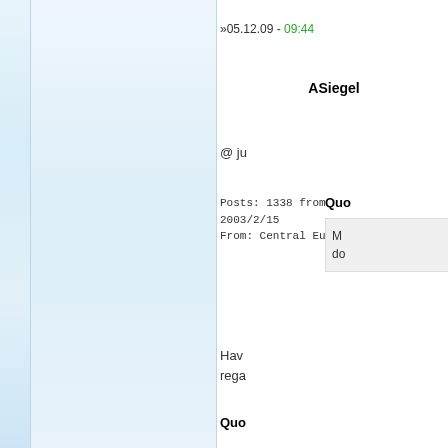[Figure (other): Light blue sidebar/avatar panel on the left side of a forum post]
»05.12.09 - 09:44
ASiegel
@ ju
Posts: 1338 from 2003/2/15
From: Central Europe
Quo
M
do
Hav
rega
Quo